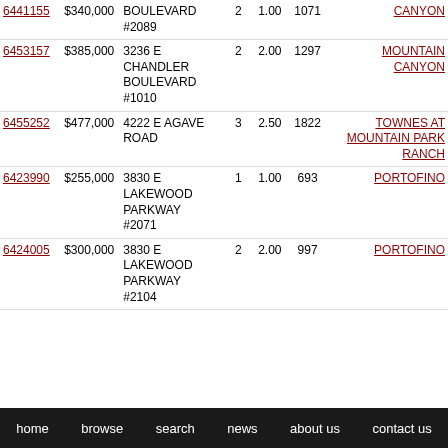| ID | Price | Address | Bed | Bath | SqFt | Subdivision |
| --- | --- | --- | --- | --- | --- | --- |
| 6441155 | $340,000 | BOULEVARD #2089 | 2 | 1.00 | 1071 | CANYON |
| 6453157 | $385,000 | 3236 E CHANDLER BOULEVARD #1010 | 2 | 2.00 | 1297 | MOUNTAIN CANYON |
| 6455252 | $477,000 | 4222 E AGAVE ROAD | 3 | 2.50 | 1822 | TOWNES AT MOUNTAIN PARK RANCH |
| 6423990 | $255,000 | 3830 E LAKEWOOD PARKWAY #2071 | 1 | 1.00 | 693 | PORTOFINO |
| 6424005 | $300,000 | 3830 E LAKEWOOD PARKWAY #2104 | 2 | 2.00 | 997 | PORTOFINO |
home | browse | search | news | about us | contact us